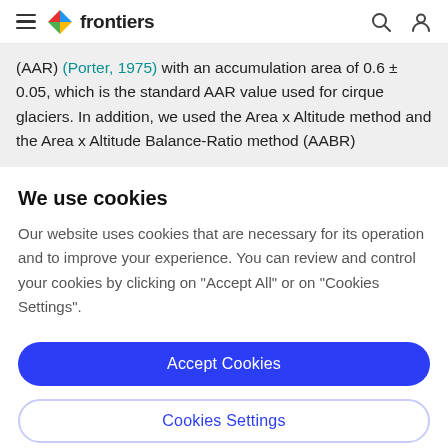frontiers
(AAR) (Porter, 1975) with an accumulation area of 0.6 ± 0.05, which is the standard AAR value used for cirque glaciers. In addition, we used the Area x Altitude method and the Area x Altitude Balance-Ratio method (AABR)
We use cookies
Our website uses cookies that are necessary for its operation and to improve your experience. You can review and control your cookies by clicking on "Accept All" or on "Cookies Settings".
Accept Cookies
Cookies Settings